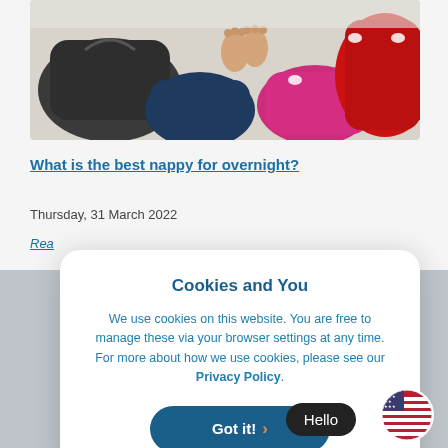[Figure (photo): Overhead view of colorful cloth nappies/diapers laid out on white surface, showing dark gray, navy blue, hot pink, and red colors, with baby feet visible in center]
What is the best nappy for overnight?
Thursday, 31 March 2022
Rea
[Figure (photo): Grey background image partially visible behind cookie modal]
Cookies and You

We use cookies on this website. You are free to manage these via your browser settings at any time. For more about how we use cookies, please see our Privacy Policy.

Got it!
Hello